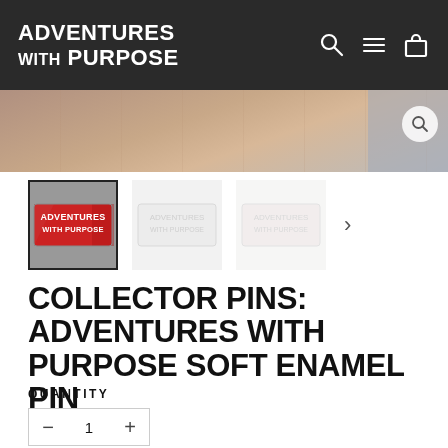ADVENTURES WITH PURPOSE
[Figure (screenshot): Hero image showing a close-up of skin/hand with a pin, with a search magnifier overlay icon in the bottom right]
[Figure (photo): Three product thumbnail images: first is an 'Adventures With Purpose' enamel pin (active/selected with dark border), second and third are faded variants of the same pin]
COLLECTOR PINS: ADVENTURES WITH PURPOSE SOFT ENAMEL PIN
QUANTITY
1